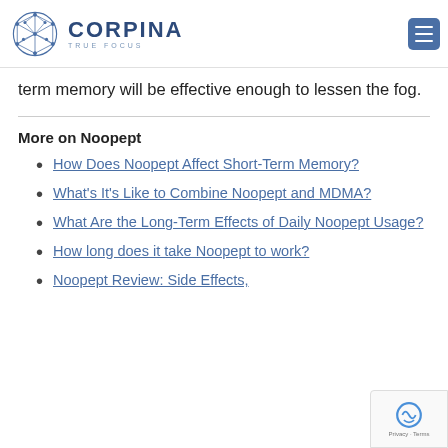CORPINA TRUE FOCUS
term memory will be effective enough to lessen the fog.
More on Noopept
How Does Noopept Affect Short-Term Memory?
What's It's Like to Combine Noopept and MDMA?
What Are the Long-Term Effects of Daily Noopept Usage?
How long does it take Noopept to work?
Noopept Review: Side Effects,